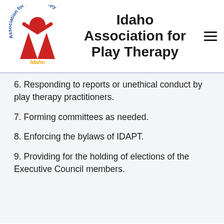[Figure (logo): Association for Play Therapy - Idaho chapter logo with red figure and circular text]
Idaho Association for Play Therapy
6. Responding to reports or unethical conduct by play therapy practitioners.
7. Forming committees as needed.
8. Enforcing the bylaws of IDAPT.
9. Providing for the holding of elections of the Executive Council members.